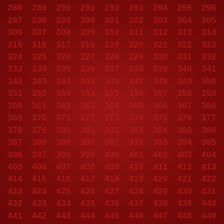[Figure (illustration): A red background grid of sequential numbers from 288 to 449, arranged in 9 columns and 18 rows, with a green shamrock/clover emoji overlaid in the center-lower area around numbers 373, 382, 391.]